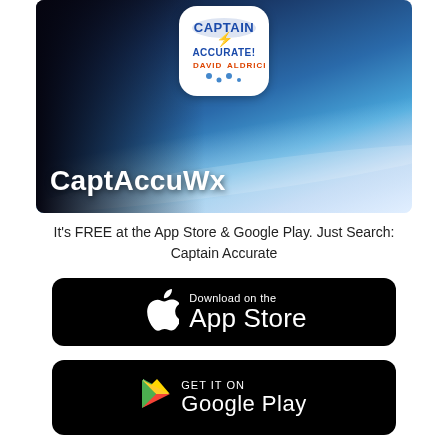[Figure (screenshot): App banner showing CaptAccuWx weather app with aerial/space view of Earth's horizon with clouds, white rounded-square app icon showing 'Captain Accurate! David Aldrich' logo with lightning bolt, and large white text 'CaptAccuWx' at the bottom of the banner.]
It's FREE at the App Store & Google Play. Just Search: Captain Accurate
[Figure (logo): Download on the App Store button — black rounded rectangle with white Apple logo and text 'Download on the App Store']
[Figure (logo): GET IT ON Google Play button — black rounded rectangle with colorful Google Play triangle icon and text 'GET IT ON']